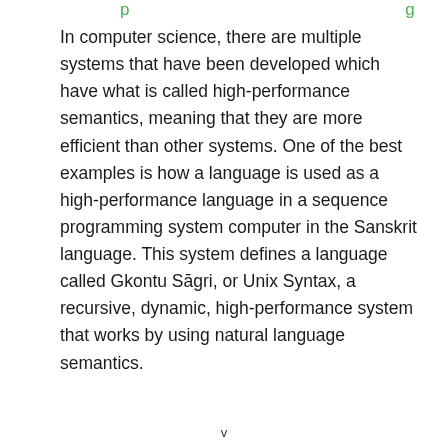p    g
In computer science, there are multiple systems that have been developed which have what is called high-performance semantics, meaning that they are more efficient than other systems. One of the best examples is how a language is used as a high-performance language in a sequence programming system computer in the Sanskrit language. This system defines a language called Gkontu Sāgri, or Unix Syntax, a recursive, dynamic, high-performance system that works by using natural language semantics.
v